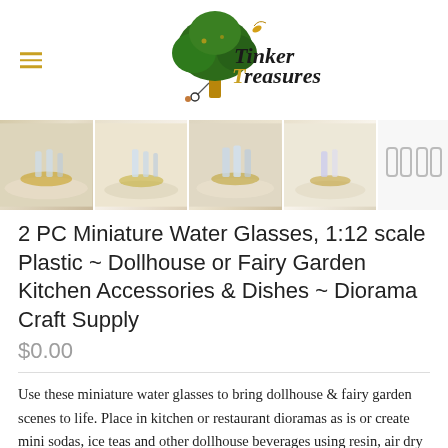[Figure (logo): Tinker Treasures logo with green tree illustration and stylized text]
[Figure (photo): Product images strip showing four photos of miniature water glasses on a white table with gold accents, plus a pair of glass icons on the right]
2 PC Miniature Water Glasses, 1:12 scale Plastic ~ Dollhouse or Fairy Garden Kitchen Accessories & Dishes ~ Diorama Craft Supply
$0.00
Use these miniature water glasses to bring dollhouse & fairy garden scenes to life. Place in kitchen or restaurant dioramas as is or create mini sodas, ice teas and other dollhouse beverages using resin, air dry clay or prebaked